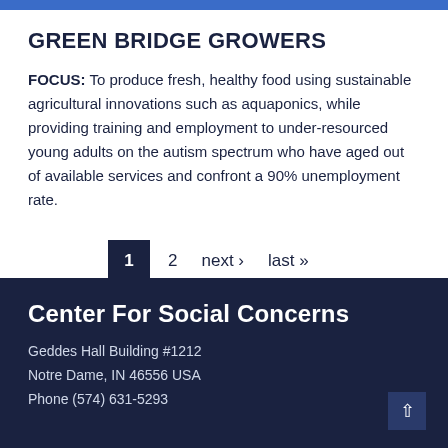GREEN BRIDGE GROWERS
FOCUS: To produce fresh, healthy food using sustainable agricultural innovations such as aquaponics, while providing training and employment to under-resourced young adults on the autism spectrum who have aged out of available services and confront a 90% unemployment rate.
1   2   next ›   last »
Center For Social Concerns
Geddes Hall Building #1212
Notre Dame, IN 46556 USA
Phone (574) 631-5293